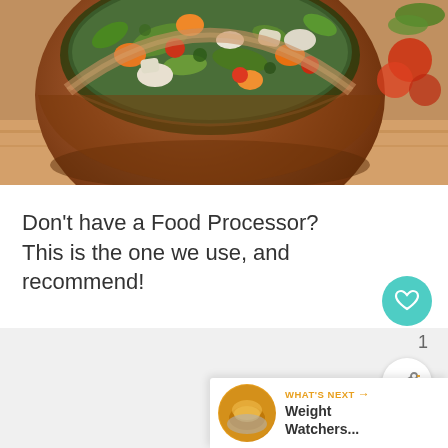[Figure (photo): A clay/terracotta bowl filled with colorful vegetable soup or minestrone, containing carrots, beans, green peppers, tomatoes, and other vegetables. Background includes fresh tomatoes and herbs.]
Don't have a Food Processor? This is the one we use, and recommend!
[Figure (other): UI overlay elements: teal heart/like button showing count '1', share button, and 'WHAT'S NEXT' teaser bar with Weight Watchers thumbnail and text 'Weight Watchers...']